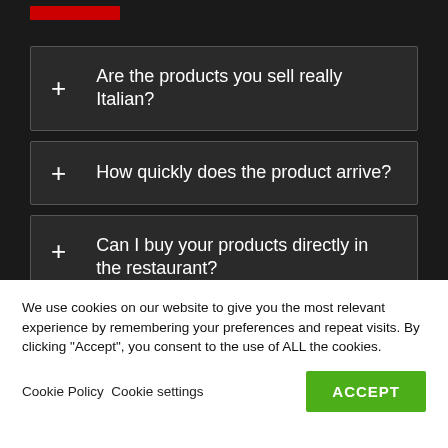[Figure (logo): Red logo bar at top left]
+ Are the products you sell really Italian?
+ How quickly does the product arrive?
+ Can I buy your products directly in the restaurant?
We use cookies on our website to give you the most relevant experience by remembering your preferences and repeat visits. By clicking “Accept”, you consent to the use of ALL the cookies.
Cookie Policy Cookie settings ACCEPT